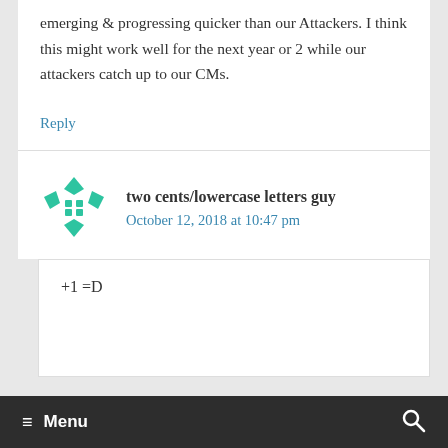emerging & progressing quicker than our Attackers. I think this might work well for the next year or 2 while our attackers catch up to our CMs.
Reply
two cents/lowercase letters guy
October 12, 2018 at 10:47 pm
+1 =D
≡ Menu